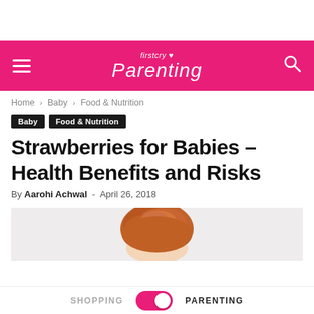firstcry Parenting
Home › Baby › Food & Nutrition
Baby  Food & Nutrition
Strawberries for Babies – Health Benefits and Risks
By Aarohi Achwal - April 26, 2018
[Figure (photo): Baby with red/auburn hair, partial head visible from above, light gray background]
SHOPPING  PARENTING